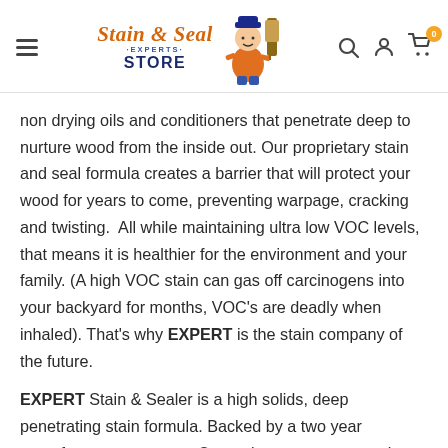[Figure (logo): Stain & Seal Experts Store logo with cartoon painter mascot, orange and blue branding]
non drying oils and conditioners that penetrate deep to nurture wood from the inside out. Our proprietary stain and seal formula creates a barrier that will protect your wood for years to come, preventing warpage, cracking and twisting.  All while maintaining ultra low VOC levels, that means it is healthier for the environment and your family. (A high VOC stain can gas off carcinogens into your backyard for months, VOC's are deadly when inhaled). That's why EXPERT is the stain company of the future.
EXPERT Stain & Sealer is a high solids, deep penetrating stain formula. Backed by a two year manufacturers warranty. Our stains are easy to apply, non-filming, and never streak, run or leave lap marks. Trusted by thousands of homeowners and